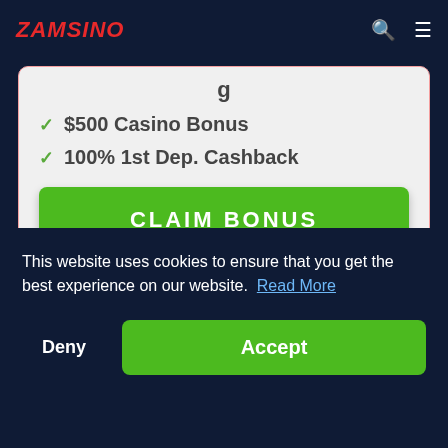ZAMSINO
✓ $500 Casino Bonus
✓ 100% 1st Dep. Cashback
CLAIM BONUS
[Figure (illustration): Crown logo placeholder for a casino brand]
This website uses cookies to ensure that you get the best experience on our website. Read More
Deny
Accept